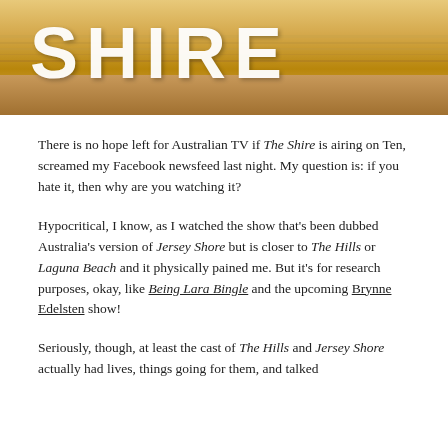[Figure (photo): Photo of large 3D letters spelling 'SHIRE' on a beach/sandy surface with ocean/sunset in background, warm golden tones]
There is no hope left for Australian TV if The Shire is airing on Ten, screamed my Facebook newsfeed last night. My question is: if you hate it, then why are you watching it?
Hypocritical, I know, as I watched the show that's been dubbed Australia's version of Jersey Shore but is closer to The Hills or Laguna Beach and it physically pained me. But it's for research purposes, okay, like Being Lara Bingle and the upcoming Brynne Edelsten show!
Seriously, though, at least the cast of The Hills and Jersey Shore actually had lives, things going for them, and talked